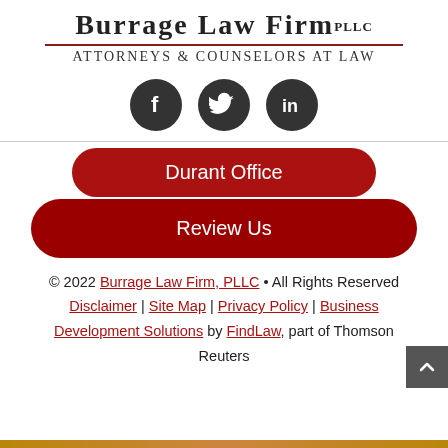Burrage Law Firm PLLC
Attorneys & Counselors at Law
[Figure (illustration): Three dark circular social media icons: Facebook (f), Twitter (bird), LinkedIn (in)]
Durant Office
Review Us
© 2022 Burrage Law Firm, PLLC • All Rights Reserved
Disclaimer | Site Map | Privacy Policy | Business Development Solutions by FindLaw, part of Thomson Reuters